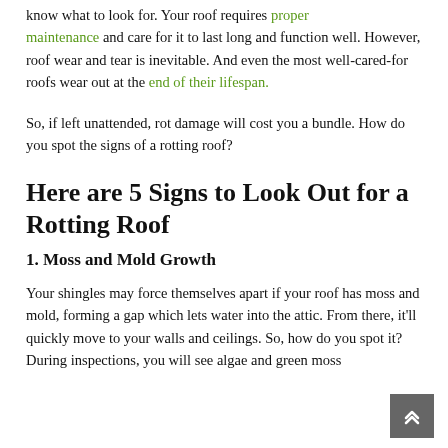know what to look for. Your roof requires proper maintenance and care for it to last long and function well. However, roof wear and tear is inevitable. And even the most well-cared-for roofs wear out at the end of their lifespan.
So, if left unattended, rot damage will cost you a bundle. How do you spot the signs of a rotting roof?
Here are 5 Signs to Look Out for a Rotting Roof
1. Moss and Mold Growth
Your shingles may force themselves apart if your roof has moss and mold, forming a gap which lets water into the attic. From there, it'll quickly move to your walls and ceilings. So, how do you spot it? During inspections, you will see algae and green moss